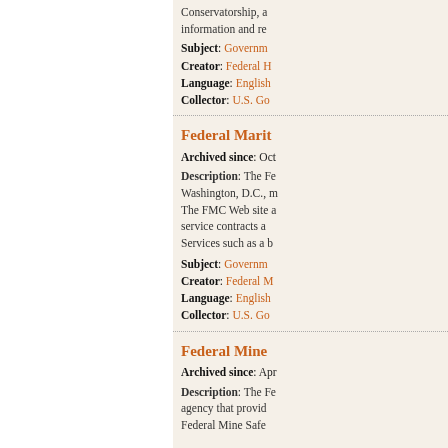Conservatorship, and information and re
Subject: Governm
Creator: Federal H
Language: English
Collector: U.S. Go
Federal Marit
Archived since: Oct
Description: The Fe Washington, D.C., m The FMC Web site a service contracts a Services such as a b
Subject: Governm
Creator: Federal M
Language: English
Collector: U.S. Gov
Federal Mine
Archived since: Apr
Description: The Fe agency that provid Federal Mine Safe